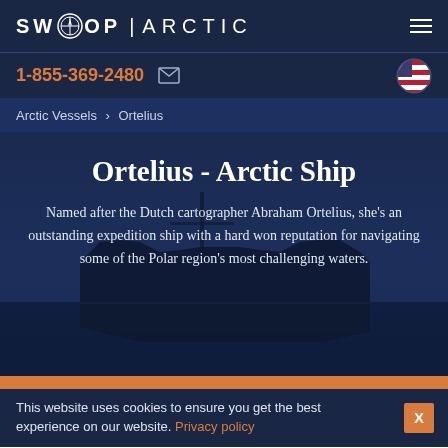SWOOP | ARCTIC
1-855-369-2480
Arctic Vessels > Ortelius
Ortelius - Arctic Ship
Named after the Dutch cartographer Abraham Ortelius, she's an outstanding expedition ship with a hard won reputation for navigating some of the Polar region's most challenging waters.
This website uses cookies to ensure you get the best experience on our website. Privacy policy